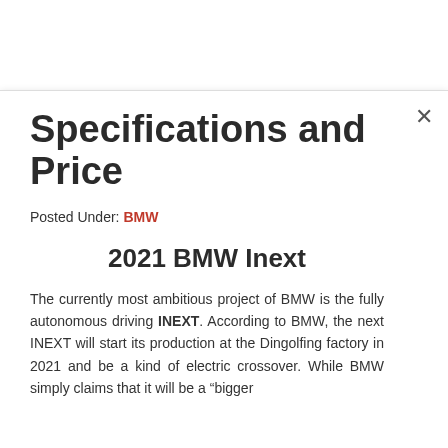Specifications and Price
Posted Under: BMW
2021 BMW Inext
The currently most ambitious project of BMW is the fully autonomous driving INEXT. According to BMW, the next INEXT will start its production at the Dingolfing factory in 2021 and be a kind of electric crossover. While BMW simply claims that it will be a “bigger